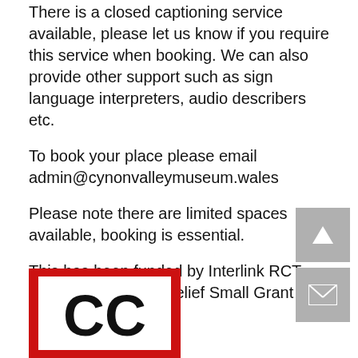There is a closed captioning service available, please let us know if you require this service when booking. We can also provide other support such as sign language interpreters, audio describers etc.
To book your place please email admin@cynonvalleymuseum.wales
Please note there are limited spaces available, booking is essential.
This has been funded by Interlink RCT through the Comic Relief Small Grant Scheme
[Figure (logo): Closed Captioning (CC) logo — black CC letters inside a red square border on white background]